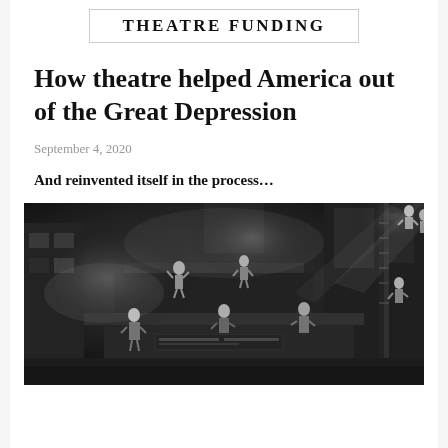THEATRE FUNDING
How theatre helped America out of the Great Depression
September 4, 2020
And reinvented itself in the process…
[Figure (photo): Black and white photograph of a theatrical stage production with dramatic lighting, smoke/fog effects, actors on multiple levels including scaffolding, and industrial-looking set design suggestive of a Federal Theatre Project era production.]